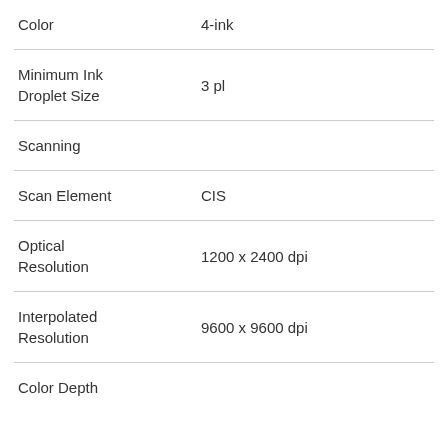| Color | 4-ink |
| Minimum Ink Droplet Size | 3 pl |
| Scanning |  |
| Scan Element | CIS |
| Optical Resolution | 1200 x 2400 dpi |
| Interpolated Resolution | 9600 x 9600 dpi |
| Color Depth | 48-bit |